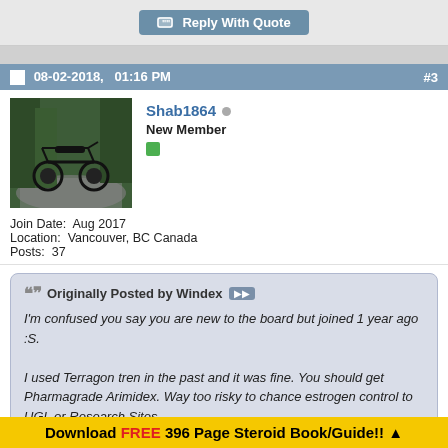Reply With Quote
08-02-2018,   01:16 PM
#3
[Figure (photo): Avatar photo of a black motorcycle parked on a road with trees in background]
Shab1864
New Member
Join Date:  Aug 2017
Location:  Vancouver, BC Canada
Posts:  37
Originally Posted by Windex
I'm confused you say you are new to the board but joined 1 year ago :S.

I used Terragon tren in the past and it was fine. You should get Pharmagrade Arimidex. Way too risky to chance estrogen control to UGL or Research Sites
Yes I joined a year ago but just started actively adding to this board, I'm
Download FREE 396 Page Steroid Book/Guide!! ▲